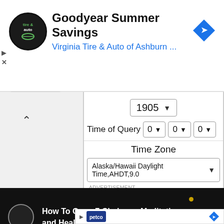[Figure (screenshot): Top advertisement banner for Goodyear Summer Savings at Virginia Tire & Auto of Ashburn, with logo, navigation arrows, and diamond-shaped navigation icon]
1905
Time of Query   0   0   0
Time Zone
Alaska/Hawaii Daylight Time,AHDT,9.0
-ADVERTISEMENT-
□DST
[Figure (screenshot): Video overlay with black background showing circular icon and text: How To Open 7 Chakras - Meditation and Healing - SunSigns.Org]
[Figure (screenshot): Bottom advertisement banner for Petco with logo and navigation arrow icon]